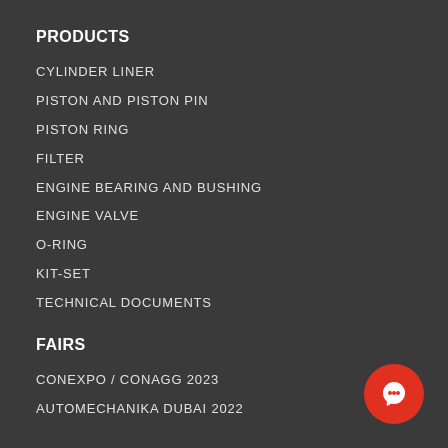PRODUCTS
CYLINDER LINER
PISTON AND PISTON PIN
PISTON RING
FILTER
ENGINE BEARING AND BUSHING
ENGINE VALVE
O-RING
KIT-SET
TECHNICAL DOCUMENTS
FAIRS
CONEXPO / CONAGG 2023
AUTOMECHANIKA DUBAI 2022